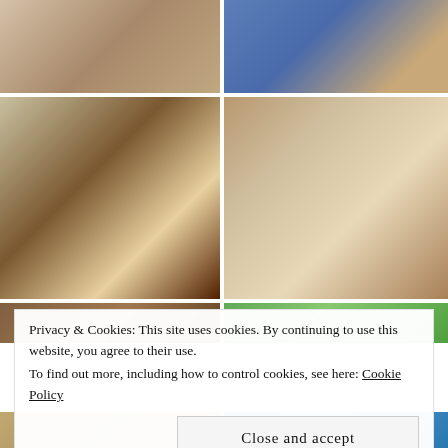[Figure (photo): Group of children standing indoors near stone wall]
[Figure (photo): Person in blue sweatshirt with necklace]
[Figure (photo): Man in yellow shirt working on furniture with two young children, cardboard boxes and radiator in background]
[Figure (photo): Group of children posed on front porch steps of brick house, first day of school]
[Figure (photo): Partial photo - indoor scene]
[Figure (photo): Partial photo - outdoor green scene]
Privacy & Cookies: This site uses cookies. By continuing to use this website, you agree to their use.
To find out more, including how to control cookies, see here: Cookie Policy
Close and accept
[Figure (photo): Partial photo bottom left - indoor/outdoor scene]
[Figure (photo): Partial photo bottom right - outdoor blue scene]